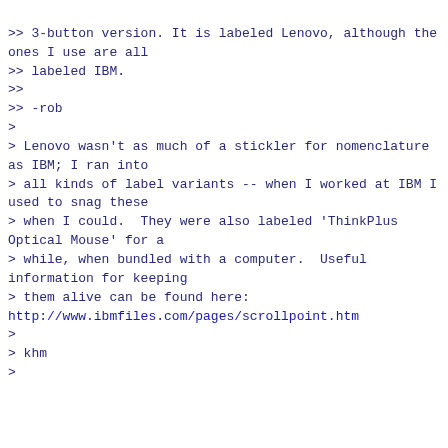>> 3-button version. It is labeled Lenovo, although the ones I use are all
>> labeled IBM.
>>
>> -rob
>
> Lenovo wasn't as much of a stickler for nomenclature as IBM; I ran into
> all kinds of label variants -- when I worked at IBM I used to snag these
> when I could.  They were also labeled 'ThinkPlus Optical Mouse' for a
> while, when bundled with a computer.  Useful information for keeping
> them alive can be found here:
http://www.ibmfiles.com/pages/scrollpoint.htm
>
> khm
>
--------------------------------------------
9fans: 9fans
Permalink:
https://9fans.topicbox.com/groups/9fans/T49f3cceea70d2b61/M1b390a91ac4c2d4c76a848b7
Delivery options:
https://9fans.topicbox.com/groups/9fans/subscription
[-- Attachment #2: Type: text/html, Size: 3082 bytes --]